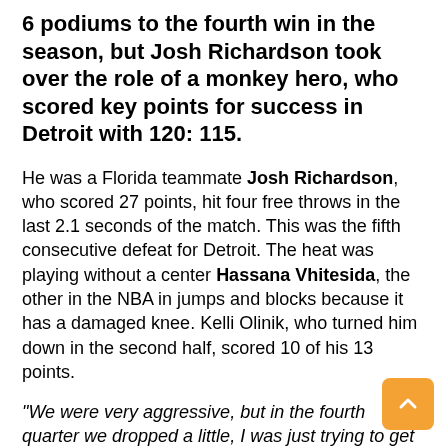6 podiums to the fourth win in the season, but Josh Richardson took over the role of a monkey hero, who scored key points for success in Detroit with 120: 115.
He was a Florida teammate Josh Richardson, who scored 27 points, hit four free throws in the last 2.1 seconds of the match. This was the fifth consecutive defeat for Detroit. The heat was playing without a center Hassana Vhitesida, the other in the NBA in jumps and blocks because it has a damaged knee. Kelli Olinik, who turned him down in the second half, scored 10 of his 13 points.
"We were very aggressive, but in the fourth quarter we dropped a little, I was just trying to get us back in the game and I helped to win. I just used my targets" after a game in Detroit, Richardson, who scored at least 25 points in the last four games for the third time.